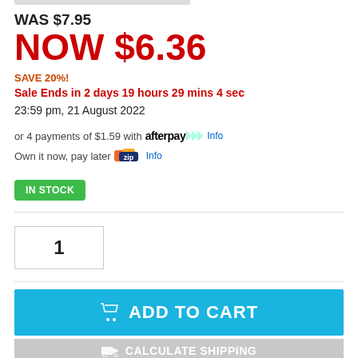WAS $7.95
NOW $6.36
SAVE 20%!
Sale Ends in 2 days 19 hours 29 mins 4 sec
23:59 pm, 21 August 2022
or 4 payments of $1.59 with afterpay Info
Own it now, pay later zip Info
IN STOCK
1
ADD TO CART
CALCULATE SHIPPING